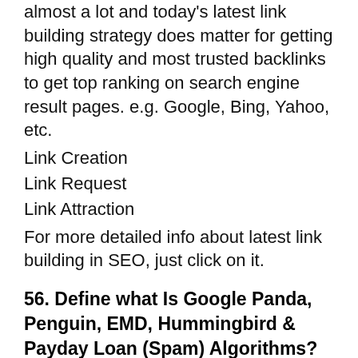almost a lot and today's latest link building strategy does matter for getting high quality and most trusted backlinks to get top ranking on search engine result pages. e.g. Google, Bing, Yahoo, etc.
Link Creation
Link Request
Link Attraction
For more detailed info about latest link building in SEO, just click on it.
56. Define what Is Google Panda, Penguin, EMD, Hummingbird & Payday Loan (Spam) Algorithms?
Google Panda, Penguin, EMD, Page Layout, Hummingbird & Payday loan are Google's